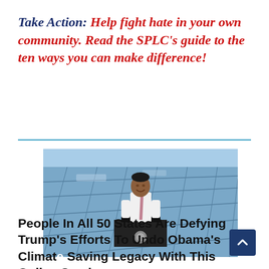Take Action: Help fight hate in your own community. Read the SPLC's guide to the ten ways you can make difference!
[Figure (photo): A man in a white shirt and pink tie stands at a presidential podium with microphones, smiling, in front of a large array of solar panels under a blue sky.]
People In All 50 States Are Defying Trump's Efforts To Undo Obama's Climate Saving Legacy With This Online Service